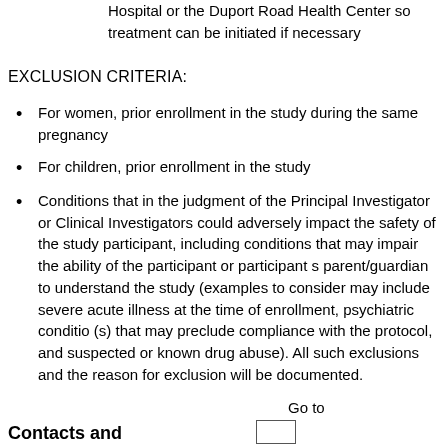Hospital or the Duport Road Health Center so treatment can be initiated if necessary
EXCLUSION CRITERIA:
For women, prior enrollment in the study during the same pregnancy
For children, prior enrollment in the study
Conditions that in the judgment of the Principal Investigator or Clinical Investigators could adversely impact the safety of the study participant, including conditions that may impair the ability of the participant or participant s parent/guardian to understand the study (examples to consider may include severe acute illness at the time of enrollment, psychiatric conditio (s) that may preclude compliance with the protocol, and suspected or known drug abuse). All such exclusions and the reason for exclusion will be documented.
Contacts and
Go to